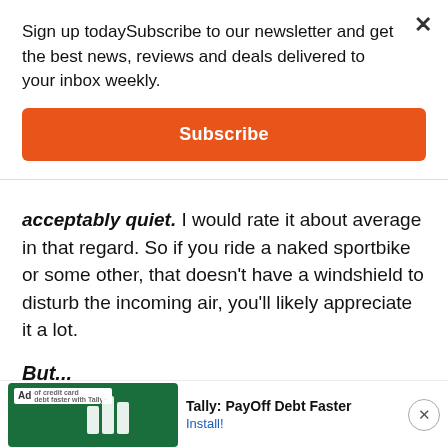Sign up todaySubscribe to our newsletter and get the best news, reviews and deals delivered to your inbox weekly.
Subscribe
acceptably quiet. I would rate it about average in that regard. So if you ride a naked sportbike or some other, that doesn’t have a windshield to disturb the incoming air, you’ll likely appreciate it a lot.
But...
When I sit down on the seat of my KTM 790 adventure and this helmet sits in the turbulent air coming off the bike’s
[Figure (screenshot): Ad banner for Tally: PayOff Debt Faster app with green background and white bar chart icon, showing 'Ad' tag, Tally logo bars, text 'Tally: PayOff Debt Faster' and 'Install!' link, with close button]